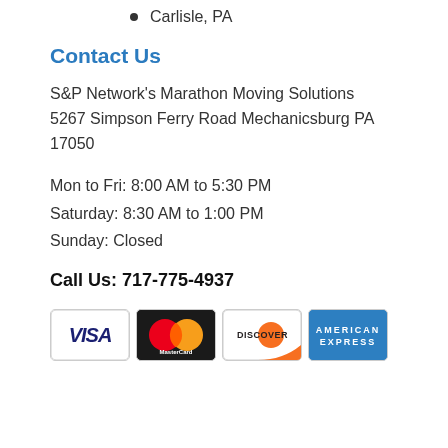Carlisle, PA
Contact Us
S&P Network's Marathon Moving Solutions
5267 Simpson Ferry Road Mechanicsburg PA 17050
Mon to Fri: 8:00 AM to 5:30 PM
Saturday: 8:30 AM to 1:00 PM
Sunday: Closed
Call Us: 717-775-4937
[Figure (other): Payment method logos: Visa, MasterCard, Discover, American Express]